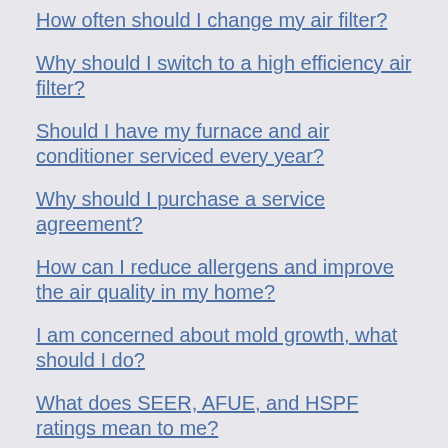How often should I change my air filter?
Why should I switch to a high efficiency air filter?
Should I have my furnace and air conditioner serviced every year?
Why should I purchase a service agreement?
How can I reduce allergens and improve the air quality in my home?
I am concerned about mold growth, what should I do?
What does SEER, AFUE, and HSPF ratings mean to me?
How can I reduce my energy costs?
Why should I buy Energy Star labeled equipment?
What is a Heat Pump?